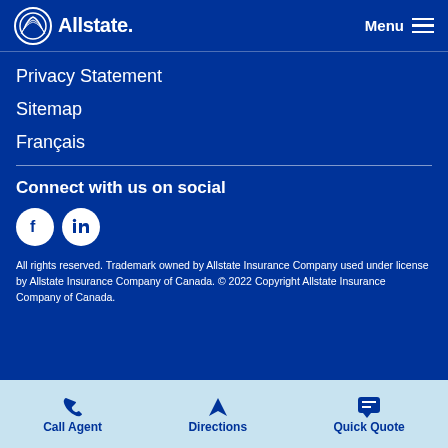Allstate Menu
Privacy Statement
Sitemap
Français
Connect with us on social
[Figure (logo): Facebook and LinkedIn social media icon buttons (white circles with dark blue icons)]
All rights reserved. Trademark owned by Allstate Insurance Company used under license by Allstate Insurance Company of Canada. © 2022 Copyright Allstate Insurance Company of Canada.
Call Agent  Directions  Quick Quote